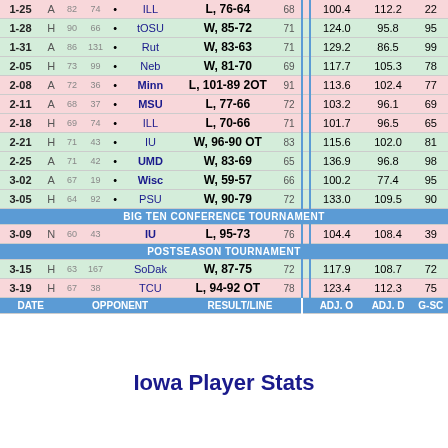| DATE |  |  |  |  | OPPONENT | RESULT/LINE |  | ADJ. O | ADJ. D | G-SC |
| --- | --- | --- | --- | --- | --- | --- | --- | --- | --- | --- |
| 1-25 | A | 82 | 74 | • | ILL | L, 76-64 | 68 | 100.4 | 112.2 | 22 |
| 1-28 | H | 90 | 66 | • | tOSU | W, 85-72 | 71 | 124.0 | 95.8 | 95 |
| 1-31 | A | 86 | 131 | • | Rut | W, 83-63 | 71 | 129.2 | 86.5 | 99 |
| 2-05 | H | 73 | 99 | • | Neb | W, 81-70 | 69 | 117.7 | 105.3 | 78 |
| 2-08 | A | 72 | 36 | • | Minn | L, 101-89 2OT | 91 | 113.6 | 102.4 | 77 |
| 2-11 | A | 68 | 37 | • | MSU | L, 77-66 | 72 | 103.2 | 96.1 | 69 |
| 2-18 | H | 69 | 74 | • | ILL | L, 70-66 | 71 | 101.7 | 96.5 | 65 |
| 2-21 | H | 71 | 43 | • | IU | W, 96-90 OT | 83 | 115.6 | 102.0 | 81 |
| 2-25 | A | 71 | 42 | • | UMD | W, 83-69 | 65 | 136.9 | 96.8 | 98 |
| 3-02 | A | 67 | 19 | • | Wisc | W, 59-57 | 66 | 100.2 | 77.4 | 95 |
| 3-05 | H | 64 | 92 | • | PSU | W, 90-79 | 72 | 133.0 | 109.5 | 90 |
| BIG TEN CONFERENCE TOURNAMENT |
| 3-09 | N | 60 | 43 |  | IU | L, 95-73 | 76 | 104.4 | 108.4 | 39 |
| POSTSEASON TOURNAMENT |
| 3-15 | H | 63 | 167 |  | SodDak | W, 87-75 | 72 | 117.9 | 108.7 | 72 |
| 3-19 | H | 67 | 38 |  | TCU | L, 94-92 OT | 78 | 123.4 | 112.3 | 75 |
Iowa Player Stats